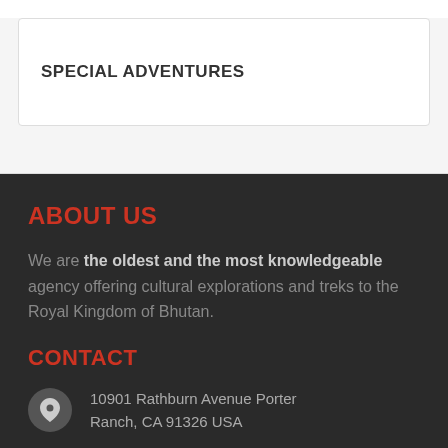SPECIAL ADVENTURES
ABOUT US
We are the oldest and the most knowledgeable agency offering cultural explorations and treks to the Royal Kingdom of Bhutan.
CONTACT
10901 Rathburn Avenue Porter Ranch, CA 91326 USA